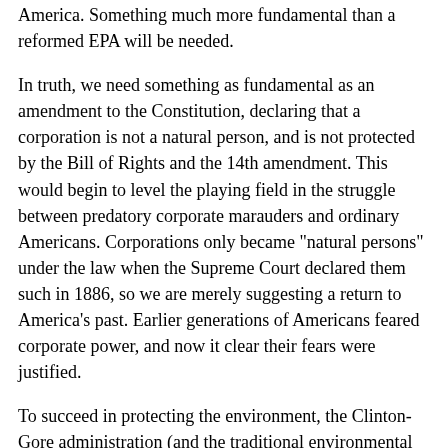America. Something much more fundamental than a reformed EPA will be needed.
In truth, we need something as fundamental as an amendment to the Constitution, declaring that a corporation is not a natural person, and is not protected by the Bill of Rights and the 14th amendment. This would begin to level the playing field in the struggle between predatory corporate marauders and ordinary Americans. Corporations only became "natural persons" under the law when the Supreme Court declared them such in 1886, so we are merely suggesting a return to America's past. Earlier generations of Americans feared corporate power, and now it clear their fears were justified.
To succeed in protecting the environment, the Clinton-Gore administration (and the traditional environmental movement) will have to admit that our problems go much deeper than mere regulatory failure. Few dare speak of it, but let's be candid: the problem is a corporate culture that expects to get rich off government handouts in return for shoddy work or no work at all. The real welfare queens are the likes of Westinghouse, GE, Boeing, Silverado Savings & Loan, General Dynamics, and Rockwell International. The defense industry is justifiably famous for its $600 toilet seats, but now that mentality permeates many, if not most, large corporations. The standard rule seems to be: If the law is in the way, bend it and, when necessary, break it. A corollary